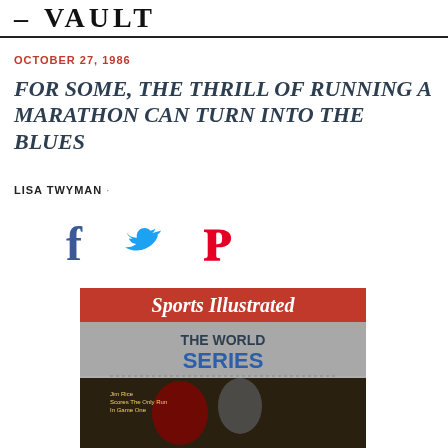— VAULT
OCTOBER 27, 1986
FOR SOME, THE THRILL OF RUNNING A MARATHON CAN TURN INTO THE BLUES
LISA TWYMAN ·
[Figure (other): Social share icons: Facebook (f), Twitter (bird), Pinterest (P)]
[Figure (photo): Sports Illustrated magazine cover showing 'THE WORLD SERIES' with a baseball player (Jim Rice) and catcher, text reads 'Jim Rice Scores The Only Run In Game One']